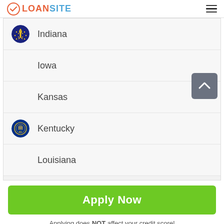LOANSITE
Indiana
Iowa
Kansas
Kentucky
Louisiana
Apply Now
Applying does NOT affect your credit score! No credit check to apply.